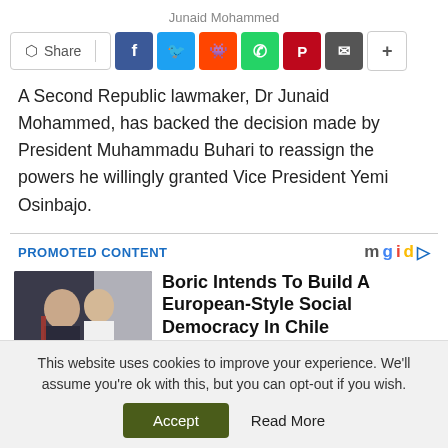Junaid Mohammed
[Figure (other): Social share bar with Share button and icons for Facebook, Twitter, Reddit, WhatsApp, Pinterest, Email, and a plus button]
A Second Republic lawmaker, Dr Junaid Mohammed, has backed the decision made by President Muhammadu Buhari to reassign the powers he willingly granted Vice President Yemi Osinbajo.
PROMOTED CONTENT
[Figure (photo): Photo of two men embracing, one wearing a sash]
Boric Intends To Build A European-Style Social Democracy In Chile
Brainberries
This website uses cookies to improve your experience. We'll assume you're ok with this, but you can opt-out if you wish.